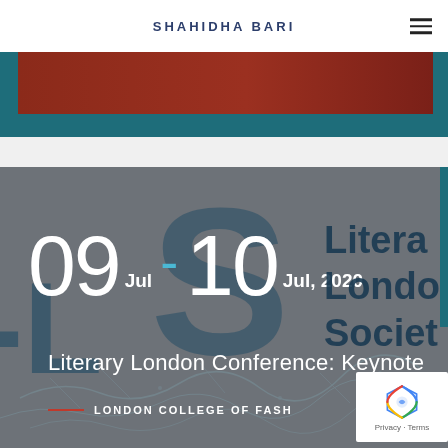SHAHIDHA BARI
[Figure (photo): Partial image showing a dark red/maroon and teal colored banner or book cover, cropped at top]
[Figure (infographic): Literary London Conference event card showing dates 09 Jul - 10 Jul, 2020, with large LS letters in dark teal, white date numbers, text reading 'Literary London Conference: Keynote' and 'LONDON COLLEGE OF FASHION', with map line art overlay at bottom and reCAPTCHA badge in corner]